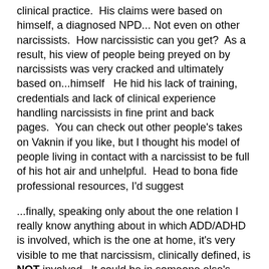clinical practice.  His claims were based on himself, a diagnosed NPD... Not even on other narcissists.  How narcissistic can you get?  As a result, his view of people being preyed on by narcissists was very cracked and ultimately based on...himself   He hid his lack of training, credentials and lack of clinical experience handling narcissists in fine print and back pages.  You can check out other people's takes on Vaknin if you like, but I thought his model of people living in contact with a narcissist to be full of his hot air and unhelpful.  Head to bona fide professional resources, I'd suggest
...finally, speaking only about the one relation I really know anything about in which ADD/ADHD is involved, which is the one at home, it's very visible to me that narcissism, clinically defined, is NOT involved.  It could be in someone else's relation.